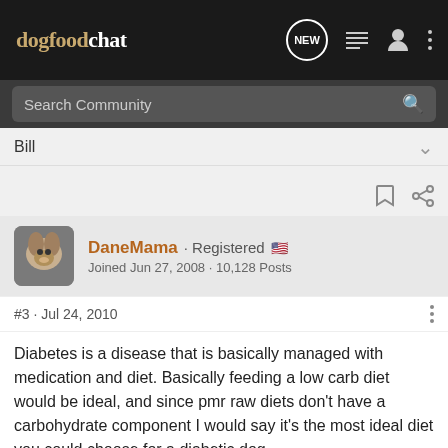dogfoodchat
Search Community
Bill
DaneMama · Registered
Joined Jun 27, 2008 · 10,128 Posts
#3 · Jul 24, 2010
Diabetes is a disease that is basically managed with medication and diet. Basically feeding a low carb diet would be ideal, and since pmr raw diets don't have a carbohydrate component I would say it's the most ideal diet you could choose for a diabetic dog.